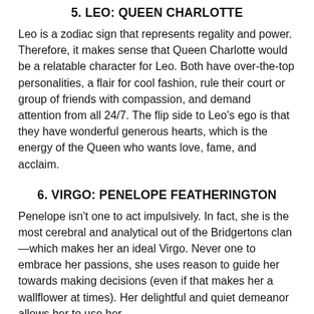5. LEO: QUEEN CHARLOTTE
Leo is a zodiac sign that represents regality and power. Therefore, it makes sense that Queen Charlotte would be a relatable character for Leo. Both have over-the-top personalities, a flair for cool fashion, rule their court or group of friends with compassion, and demand attention from all 24/7. The flip side to Leo's ego is that they have wonderful generous hearts, which is the energy of the Queen who wants love, fame, and acclaim.
6. VIRGO: PENELOPE FEATHERINGTON
Penelope isn't one to act impulsively. In fact, she is the most cerebral and analytical out of the Bridgertons clan—which makes her an ideal Virgo. Never one to embrace her passions, she uses reason to guide her towards making decisions (even if that makes her a wallflower at times). Her delightful and quiet demeanor allows her to use her